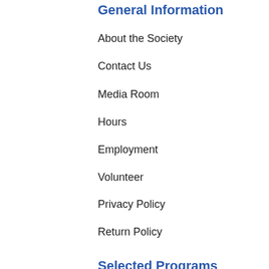General Information
About the Society
Contact Us
Media Room
Hours
Employment
Volunteer
Privacy Policy
Return Policy
Selected Programs
National History Day
Wisconsin Historical Images
Office of School Services
Wisconsin Historical Society Press